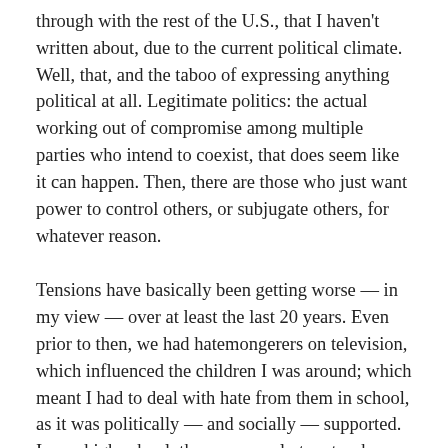through with the rest of the U.S., that I haven't written about, due to the current political climate. Well, that, and the taboo of expressing anything political at all. Legitimate politics: the actual working out of compromise among multiple parties who intend to coexist, that does seem like it can happen. Then, there are those who just want power to control others, or subjugate others, for whatever reason.
Tensions have basically been getting worse — in my view — over at least the last 20 years. Even prior to then, we had hatemongerers on television, which influenced the children I was around; which meant I had to deal with hate from them in school, as it was politically — and socially — supported. In my high school, there were only two teachers who would speak out in support of students who were being sexually harassed for their supposed sexual orientation.
If I were to think back, my earliest memories of this pattern relate to the San Francisco Bay Area gay mens' community being decimated